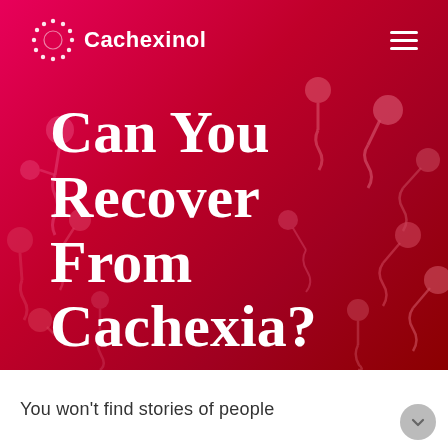Cachexinol
Can You Recover From Cachexia?
[Figure (illustration): Decorative abstract molecule/bacteria-like shapes in pink/salmon color scattered on the red gradient hero background, left and right sides]
You won't find stories of people